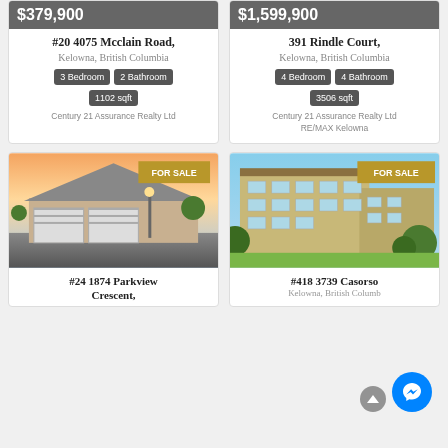[Figure (other): Property listing card top - #20 4075 Mcclain Road, price $379,900]
$379,900
#20 4075 Mcclain Road,
Kelowna, British Columbia
3 Bedroom  2 Bathroom  1102 sqft
Century 21 Assurance Realty Ltd
[Figure (other): Property listing card top - 391 Rindle Court, price $1,599,900]
$1,599,900
391 Rindle Court,
Kelowna, British Columbia
4 Bedroom  4 Bathroom  3506 sqft
Century 21 Assurance Realty Ltd
RE/MAX Kelowna
[Figure (photo): House photo with FOR SALE badge, price $620,000. #24 1874 Parkview Crescent listing photo.]
$620,000
#24 1874 Parkview Crescent,
[Figure (photo): Apartment building photo with FOR SALE badge, price $499,000. #418 3739 Casorso listing photo.]
$499,000
#418 3739 Casorso
Kelowna, British Columb